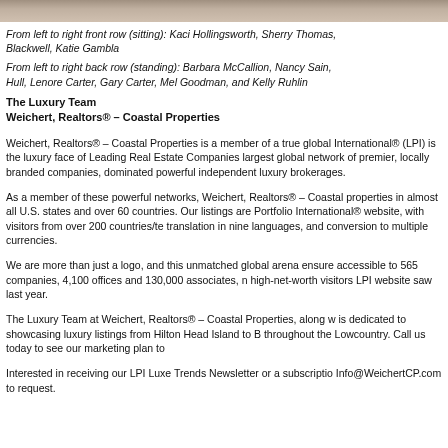[Figure (photo): Top strip showing partial photo of people, cropped at top of page]
From left to right front row (sitting): Kaci Hollingsworth, Sherry Thomas, Blackwell, Katie Gambla
From left to right back row (standing): Barbara McCallion, Nancy Sain, Hull, Lenore Carter, Gary Carter, Mel Goodman, and Kelly Ruhlin
The Luxury Team
Weichert, Realtors® – Coastal Properties
Weichert, Realtors® – Coastal Properties is a member of a true global International® (LPI) is the luxury face of Leading Real Estate Companies largest global network of premier, locally branded companies, dominated powerful independent luxury brokerages.
As a member of these powerful networks, Weichert, Realtors® – Coastal properties in almost all U.S. states and over 60 countries. Our listings are Portfolio International® website, with visitors from over 200 countries/territories translation in nine languages, and conversion to multiple currencies.
We are more than just a logo, and this unmatched global arena ensures accessible to 565 companies, 4,100 offices and 130,000 associates, nearly high-net-worth visitors LPI website saw last year.
The Luxury Team at Weichert, Realtors® – Coastal Properties, along with is dedicated to showcasing luxury listings from Hilton Head Island to Beaufort throughout the Lowcountry. Call us today to see our marketing plan to sell your property.
Interested in receiving our LPI Luxe Trends Newsletter or a subscription to Info@WeichertCP.com to request.